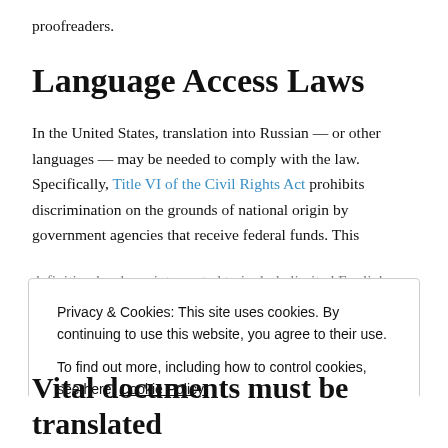proofreaders.
Language Access Laws
In the United States, translation into Russian — or other languages — may be needed to comply with the law. Specifically, Title VI of the Civil Rights Act prohibits discrimination on the grounds of national origin by government agencies that receive federal funds. This definition has been interpreted to include limited English...
Privacy & Cookies: This site uses cookies. By continuing to use this website, you agree to their use. To find out more, including how to control cookies, see here: Cookie Policy
Vital documents must be translated